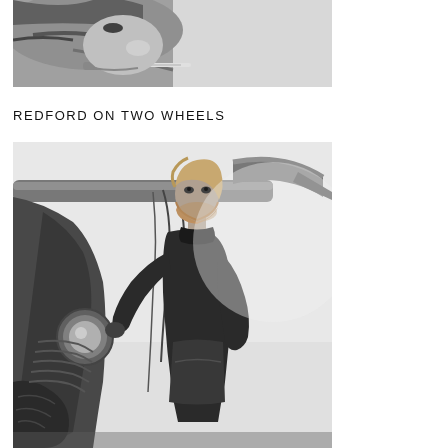[Figure (photo): Black and white close-up photograph of a person's face, partial view showing eyes and mouth with what appears to be a cigarette]
REDFORD ON TWO WHEELS
[Figure (photo): Black and white photograph of a bearded man in dark clothing leaning against a motorcycle, shot from a low angle with motorcycle handlebars visible in foreground]